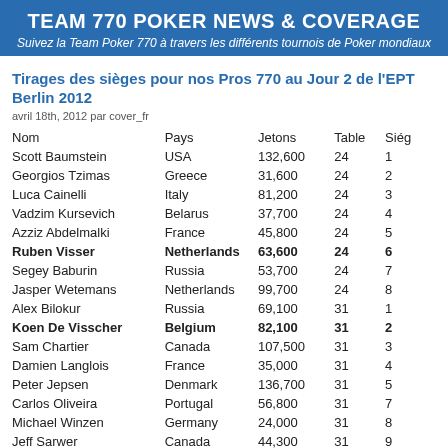TEAM 770 POKER NEWS & COVERAGE
Suivez la Team Poker 770 à travers les différents tournois de Poker mondiaux
Tirages des sièges pour nos Pros 770 au Jour 2 de l'EPT Berlin 2012
avril 18th, 2012 par cover_fr
| Nom | Pays | Jetons | Table | Siège |
| --- | --- | --- | --- | --- |
| Scott Baumstein | USA | 132,600 | 24 | 1 |
| Georgios Tzimas | Greece | 31,600 | 24 | 2 |
| Luca Cainelli | Italy | 81,200 | 24 | 3 |
| Vadzim Kursevich | Belarus | 37,700 | 24 | 4 |
| Azziz Abdelmalki | France | 45,800 | 24 | 5 |
| Ruben Visser | Netherlands | 63,600 | 24 | 6 |
| Segey Baburin | Russia | 53,700 | 24 | 7 |
| Jasper Wetemans | Netherlands | 99,700 | 24 | 8 |
| Alex Bilokur | Russia | 69,100 | 31 | 1 |
| Koen De Visscher | Belgium | 82,100 | 31 | 2 |
| Sam Chartier | Canada | 107,500 | 31 | 3 |
| Damien Langlois | France | 35,000 | 31 | 4 |
| Peter Jepsen | Denmark | 136,700 | 31 | 5 |
| Carlos Oliveira | Portugal | 56,800 | 31 | 7 |
| Michael Winzen | Germany | 24,000 | 31 | 8 |
| Jeff Sarwer | Canada | 44,300 | 31 | 9 |
Posté dans EPT Berlin 2012 | Jour 1B | Jour 2